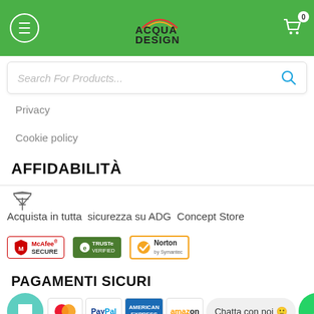Acqua Design Group — Header navigation bar with menu, logo, and cart
Search For Products...
Privacy
Cookie policy
AFFIDABILITÀ
Acquista in tutta  sicurezza su ADG  Concept Store
[Figure (logo): Security badges: McAfee SECURE, TRUSTe Verified, Norton by Symantec]
PAGAMENTI SICURI
[Figure (logo): Payment logos: Mastercard, PayPal, American Express, Amazon, plus chat widgets]